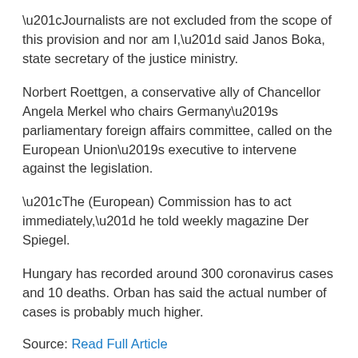“Journalists are not excluded from the scope of this provision and nor am I,” said Janos Boka, state secretary of the justice ministry.
Norbert Roettgen, a conservative ally of Chancellor Angela Merkel who chairs Germany’s parliamentary foreign affairs committee, called on the European Union’s executive to intervene against the legislation.
“The (European) Commission has to act immediately,” he told weekly magazine Der Spiegel.
Hungary has recorded around 300 coronavirus cases and 10 deaths. Orban has said the actual number of cases is probably much higher.
Source: Read Full Article
INTERESTING FOR YOU
[Figure (photo): Photo of a person with dark reddish hair against a blue background, partially visible at the bottom of the page]